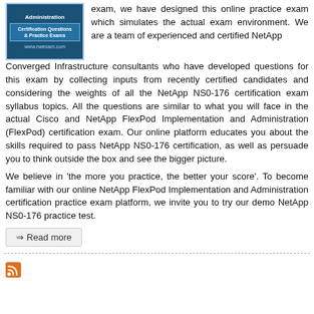[Figure (logo): NWExam logo box: dark blue background with 'Administration' at top, 'Certification Questions & Practice Exams' in lighter blue box, and 'www.nwexam.com' at bottom]
exam, we have designed this online practice exam which simulates the actual exam environment. We are a team of experienced and certified NetApp Converged Infrastructure consultants who have developed questions for this exam by collecting inputs from recently certified candidates and considering the weights of all the NetApp NS0-176 certification exam syllabus topics. All the questions are similar to what you will face in the actual Cisco and NetApp FlexPod Implementation and Administration (FlexPod) certification exam. Our online platform educates you about the skills required to pass NetApp NS0-176 certification, as well as persuade you to think outside the box and see the bigger picture.
We believe in 'the more you practice, the better your score'. To become familiar with our online NetApp FlexPod Implementation and Administration certification practice exam platform, we invite you to try our demo NetApp NS0-176 practice test.
⇒ Read more
[Figure (logo): RSS feed orange icon]